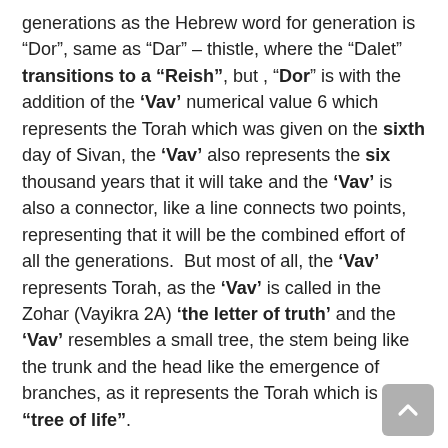generations as the Hebrew word for generation is "Dor", same as "Dar" – thistle, where the "Dalet" transitions to a "Reish", but , "Dor" is with the addition of the 'Vav' numerical value 6 which represents the Torah which was given on the sixth day of Sivan, the 'Vav' also represents the six thousand years that it will take and the 'Vav' is also a connector, like a line connects two points, representing that it will be the combined effort of all the generations.  But most of all, the 'Vav' represents Torah, as the 'Vav' is called in the Zohar (Vayikra 2A) 'the letter of truth' and the 'Vav' resembles a small tree, the stem being like the trunk and the head like the emergence of branches, as it represents the Torah which is the "tree of life".
Multi-Generational Admission